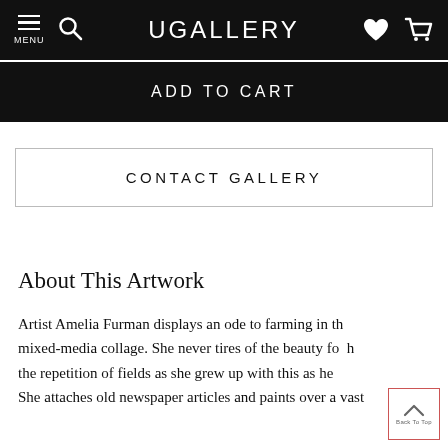UGALLERY
ADD TO CART
CONTACT GALLERY
About This Artwork
Artist Amelia Furman displays an ode to farming in th mixed-media collage. She never tires of the beauty fo h the repetition of fields as she grew up with this as he hom She attaches old newspaper articles and paints over a vast